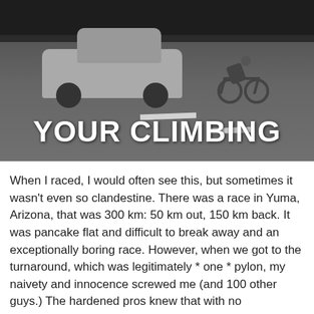[Figure (photo): Black and white photo of a car and a cyclist riding on a road, with bold white text overlay reading 'YOUR CLIMBING']
When I raced, I would often see this, but sometimes it wasn't even so clandestine. There was a race in Yuma, Arizona, that was 300 km: 50 km out, 150 km back. It was pancake flat and difficult to break away and an exceptionally boring race. However, when we got to the turnaround, which was legitimately * one * pylon, my naivety and innocence screwed me (and 100 other guys.) The hardened pros knew that with no